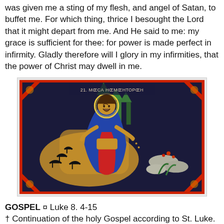was given me a sting of my flesh, and angel of Satan, to buffet me. For which thing, thrice I besought the Lord that it might depart from me. And He said to me: my grace is sufficient for thee: for power is made perfect in infirmity. Gladly therefore will I glory in my infirmities, that the power of Christ may dwell in me.
[Figure (illustration): Byzantine/Orthodox icon painting showing a figure (Jesus/the Sower) in robes with a halo, sowing seeds. Dark background with trees, birds (ravens/crows) on the ground, rocks, and flowers. Text at top reads '21. МŒСА НŒМŒНТОРŒН' or similar Cyrillic inscription. Red decorative border with geometric octagonal frame.]
GOSPEL ¤ Luke 8. 4-15
† Continuation of the holy Gospel according to St. Luke.
[Jesus, in the boat, on the shores of the lake of Galilee, preaches the parable of the sower.]
At that time, when a very great multitude was gathered